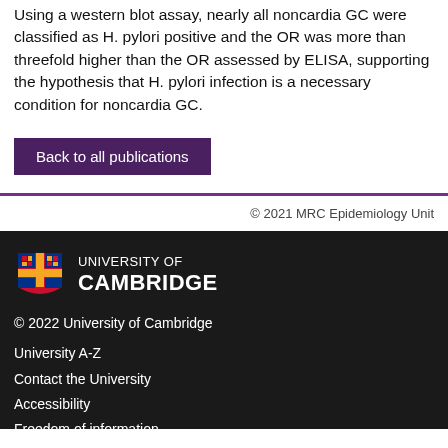Using a western blot assay, nearly all noncardia GC were classified as H. pylori positive and the OR was more than threefold higher than the OR assessed by ELISA, supporting the hypothesis that H. pylori infection is a necessary condition for noncardia GC.
Back to all publications
© 2021 MRC Epidemiology Unit
[Figure (logo): University of Cambridge shield logo in color (gold and red heraldic design) with text UNIVERSITY OF CAMBRIDGE]
© 2022 University of Cambridge
University A-Z
Contact the University
Accessibility
Freedom of information